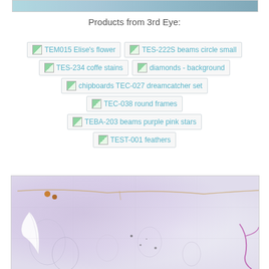[Figure (photo): Partial top image cropped at top of page, showing a decorative scrapbook or art piece with teal/blue tones]
Products from 3rd Eye:
TEM015 Elise's flower
TES-222S beams circle small
TES-234 coffe stains
diamonds - background
chipboards TEC-027 dreamcatcher set
TEC-038 round frames
TEBA-203 beams purple pink stars
TEST-001 feathers
[Figure (photo): Decorative scrapbook page with purple and grey tones, feathers, floral embossing, and artistic elements]